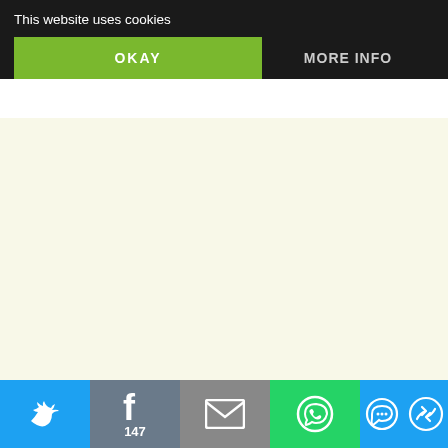Reply
[Figure (screenshot): Cookie consent banner overlay with dark background, showing 'This website uses cookies' text, green OKAY button, and MORE INFO button]
sa
June 25, 2013 at 11:25 am
Thanks for your reply so quickly :) What else needs to be done for the t questionnaire? Do you need to have Croatian? I've been studying it and t croatian questions. They are very in enjoying the study and practicing m realised my Croatian isn't that great conversations at home aren't compl
Loading...
inavukic says:
June 25, 2013 at 1:30 pm
[Figure (screenshot): Social sharing bar at bottom with Twitter (blue), Facebook (gray-blue, 147 count), Email (gray), WhatsApp (green), SMS (blue), and more (blue) buttons]